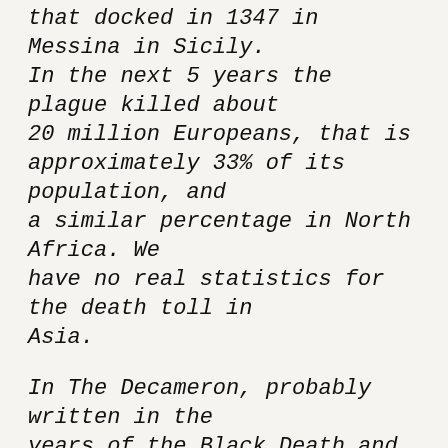that docked in 1347 in Messina in Sicily. In the next 5 years the plague killed about 20 million Europeans, that is approximately 33% of its population, and a similar percentage in North Africa. We have no real statistics for the death toll in Asia.
In The Decameron, probably written in the years of the Black Death and immediately afterwards, Giovanni Boccaccio wrote a series of stories (in a format that influenced Chaucer's Canterbury Tales later in the century) in which a group of people took refuge from the plague in a villa outside of Florence in Italy. Their